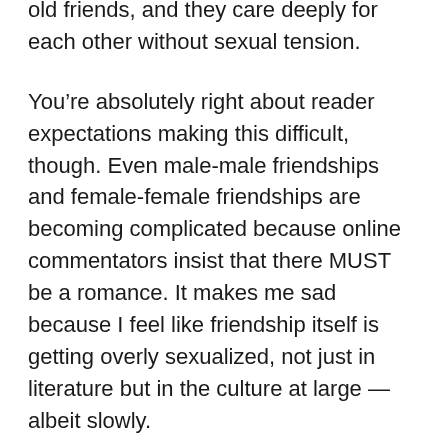old friends, and they care deeply for each other without sexual tension.
You’re absolutely right about reader expectations making this difficult, though. Even male-male friendships and female-female friendships are becoming complicated because online commentators insist that there MUST be a romance. It makes me sad because I feel like friendship itself is getting overly sexualized, not just in literature but in the culture at large — albeit slowly.
I have to say, though, I’m not sure how to work in such platonic relationships, myself. I did have two main characters who were strictly platonic, but the story ended up working better if there was a little sexual tension from if the